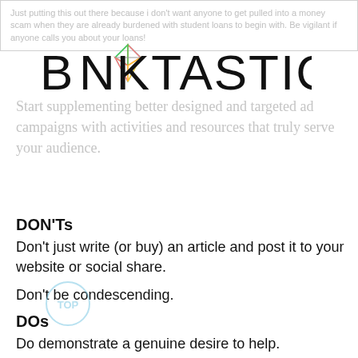Just putting this out there because i don't want anyone to get pulled into a money scam when they are already burdened with student loans to begin with. Be vigilant if anyone calls you about your loans!
[Figure (logo): BANKTASTIC logo with colorful geometric crystal/diamond shape replacing the letter A]
Start supplementing better designed and targeted ad campaigns with activities and resources that truly serve your audience.
DON'Ts
Don't just write (or buy) an article and post it to your website or social share.
Don't be condescending.
DOs
Do demonstrate a genuine desire to help.
Do share practical advice.
Do create one-on-one and social interactions that build trust in your expertise.